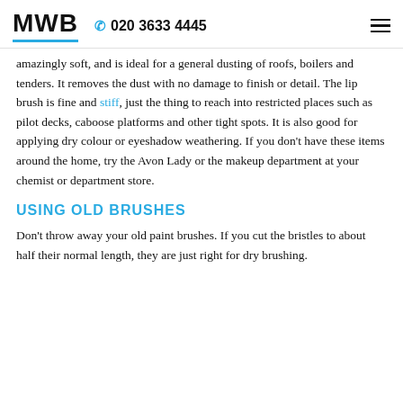MWB  020 3633 4445
amazingly soft, and is ideal for a general dusting of roofs, boilers and tenders. It removes the dust with no damage to finish or detail. The lip brush is fine and stiff, just the thing to reach into restricted places such as pilot decks, caboose platforms and other tight spots. It is also good for applying dry colour or eyeshadow weathering. If you don't have these items around the home, try the Avon Lady or the makeup department at your chemist or department store.
USING OLD BRUSHES
Don't throw away your old paint brushes. If you cut the bristles to about half their normal length, they are just right for dry brushing.